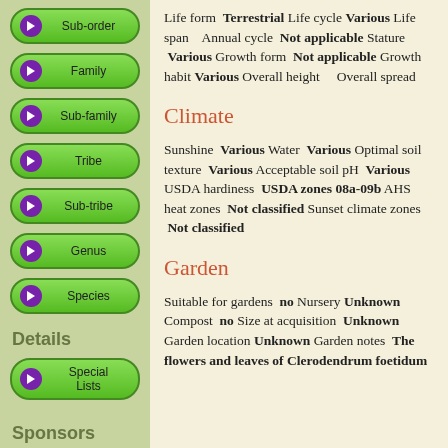Sub-order
Family
Sub-family
Tribe
Sub-tribe
Genus
Species
Details
Special Lists
Sponsors
Life form Terrestrial Life cycle Various Life span Annual cycle Not applicable Stature Various Growth form Not applicable Growth habit Various Overall height Overall spread
Climate
Sunshine Various Water Various Optimal soil texture Various Acceptable soil pH Various USDA hardiness USDA zones 08a-09b AHS heat zones Not classified Sunset climate zones Not classified
Garden
Suitable for gardens no Nursery Unknown Compost no Size at acquisition Unknown Garden location Unknown Garden notes The flowers and leaves of Clerodendrum foetidum